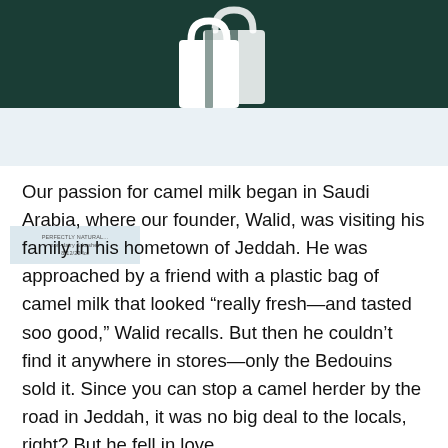[Figure (logo): Dark green header bar with white shopping bag logo/icon centered at the top]
[Figure (photo): Light blue sub-header area with a small product label card on the left showing text about 'perfectly natural', 'non-dairy & kosher', and a date/code]
Our passion for camel milk began in Saudi Arabia, where our founder, Walid, was visiting his family in his hometown of Jeddah. He was approached by a friend with a plastic bag of camel milk that looked “really fresh—and tasted soo good,” Walid recalls. But then he couldn’t find it anywhere in stores—only the Bedouins sold it. Since you can stop a camel herder by the road in Jeddah, it was no big deal to the locals, right? But he fell in love